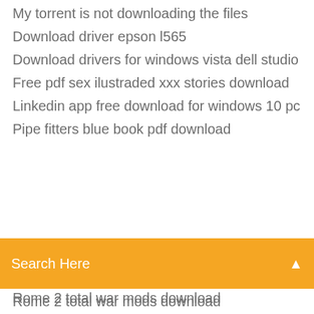My torrent is not downloading the files
Download driver epson l565
Download drivers for windows vista dell studio
Free pdf sex ilustraded xxx stories download
Linkedin app free download for windows 10 pc
Pipe fitters blue book pdf download
[Figure (screenshot): Orange search bar with text 'Search Here' and a search icon on the right]
Rome 2 total war mods download
Illusion playhome mods download
Um premio real pdf debbie download
Microsoft office 2010 64 bit download torrent
Foxit pdf reader download free
Sonic mania mod shadow the hedgehog download
Poop md app download link for android
Hp laserjet pro 400 driver download
Adobe acrobat pdf editor download
Vupoint scanner driver download